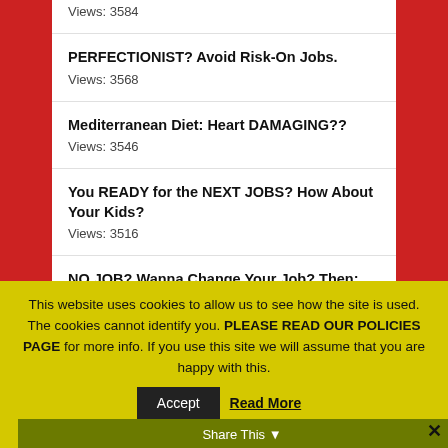Views: 3584
PERFECTIONIST? Avoid Risk-On Jobs.
Views: 3568
Mediterranean Diet: Heart DAMAGING??
Views: 3546
You READY for the NEXT JOBS? How About Your Kids?
Views: 3516
NO JOB? Wanna Change Your Job? Then: Solve a Problem.
Views: 3511
This website uses cookies to allow us to see how the site is used. The cookies cannot identify you. PLEASE READ OUR POLICIES PAGE for more info. If you use this site we will assume that you are happy with this.
Share This